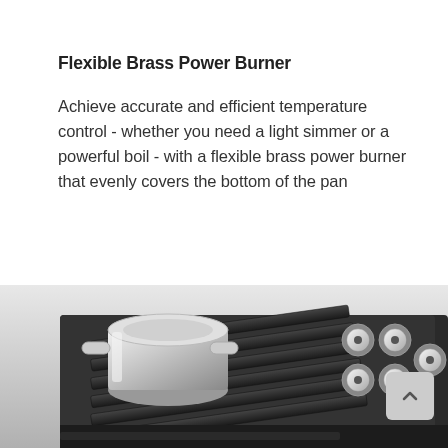Flexible Brass Power Burner
Achieve accurate and efficient temperature control - whether you need a light simmer or a powerful boil - with a flexible brass power burner that evenly covers the bottom of the pan
[Figure (photo): Black and white photo of a gas cooktop with cast iron grates and knobs, with a stainless steel pot on the left burner]